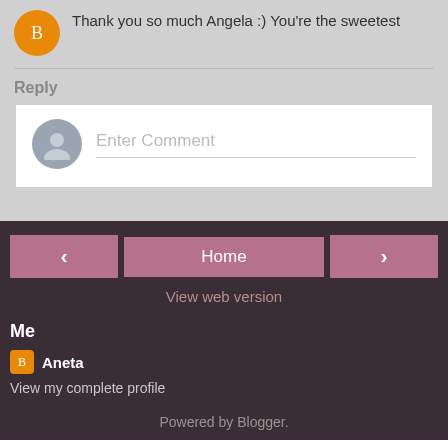Thank you so much Angela :) You're the sweetest
Reply
Enter Comment
Home
View web version
Me
Aneta
View my complete profile
Powered by Blogger.